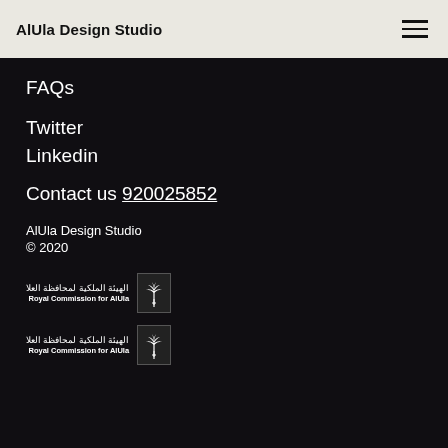AlUla Design Studio
FAQs
Twitter
Linkedin
Contact us 920025852
AlUla Design Studio
© 2020
[Figure (logo): Royal Commission for AlUla logo with Arabic text and palm tree/sword emblem — instance 1]
[Figure (logo): Royal Commission for AlUla logo with Arabic text and palm tree/sword emblem — instance 2]